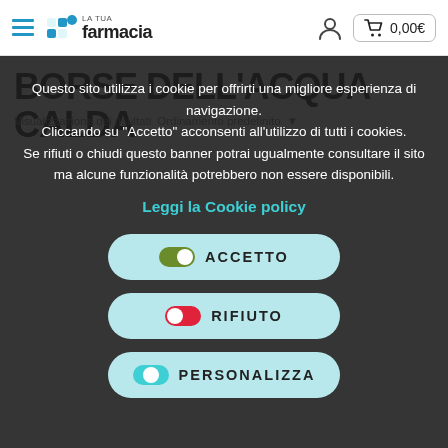La Tua Farmacia — 0,00€
BORSE DELL'ACQUA CALDA
Questo sito utilizza i cookie per offrirti una migliore esperienza di navigazione.
Cliccando su "Accetto" acconsenti all'utilizzo di tutti i cookies.
Se rifiuti o chiudi questo banner potrai ugualmente consultare il sito ma alcune funzionalità potrebbero non essere disponibili.
Leggi la Cookie policy
ACCETTO
RIFIUTO
PERSONALIZZA